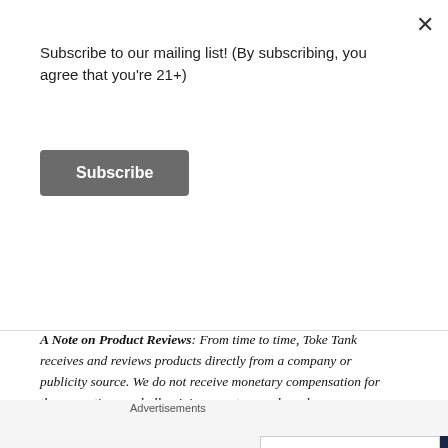Subscribe to our mailing list! (By subscribing, you agree that you're 21+)
Subscribe
A Note on Product Reviews: From time to time, Toke Tank receives and reviews products directly from a company or publicity source. We do not receive monetary compensation for these mentions and all opinions are true and as always, our own. They may reflect an opinion that is different than yours.
We are not doctors and our reviews should not be taken as medical recommendations. We make no guarantees about the products we review, nor do we endorse any one brand or organization. Variety is the
Advertisements
[Figure (screenshot): Advertisement banner: 'The first rule of Startup School?' on white background next to dark blue banner with 'Ask questions.' and WordPress and SoundMind logos]